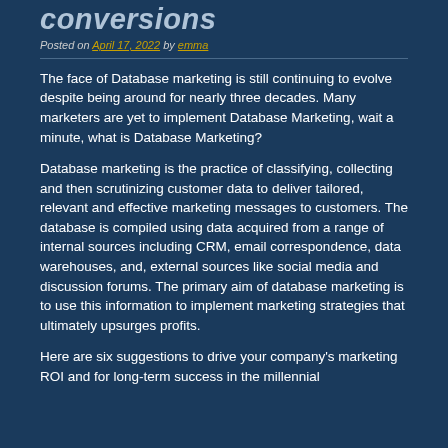conversions
Posted on April 17, 2022 by emma
The face of Database marketing is still continuing to evolve despite being around for nearly three decades. Many marketers are yet to implement Database Marketing, wait a minute, what is Database Marketing?
Database marketing is the practice of classifying, collecting and then scrutinizing customer data to deliver tailored, relevant and effective marketing messages to customers. The database is compiled using data acquired from a range of internal sources including CRM, email correspondence, data warehouses, and, external sources like social media and discussion forums. The primary aim of database marketing is to use this information to implement marketing strategies that ultimately upsurges profits.
Here are six suggestions to drive your company's marketing ROI and for long-term success in the millennial